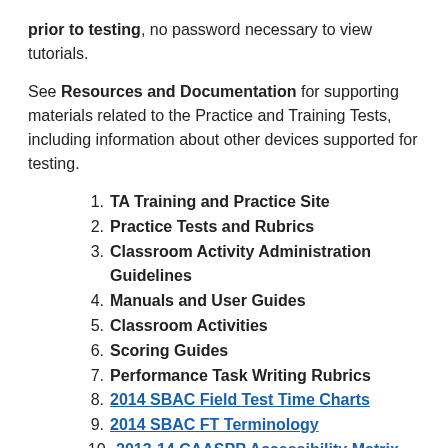prior to testing, no password necessary to view tutorials.
See Resources and Documentation for supporting materials related to the Practice and Training Tests, including information about other devices supported for testing.
1. TA Training and Practice Site
2. Practice Tests and Rubrics
3. Classroom Activity Administration Guidelines
4. Manuals and User Guides
5. Classroom Activities
6. Scoring Guides
7. Performance Task Writing Rubrics
8. 2014 SBAC Field Test Time Charts
9. 2014 SBAC FT Terminology
10. 2013-14 CAASPP Accessibility Matrix
11. Smarter Balanced - Teachers
12. 2014 SBAC FT Content Area Assignment2014